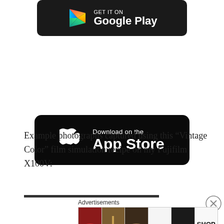[Figure (logo): Google Play store download button — black rounded rectangle with colorful play triangle icon and 'Google Play' text in white]
[Figure (logo): Apple App Store download button — black rounded rectangle with white Apple logo and 'Download on the App Store' text in white]
Example photographs captured using this “Vintage Color” film simulation recipe on my Fujifilm X100V:
[Figure (screenshot): Partial view of a photo strip at the bottom of the page, partially cut off]
Advertisements
[Figure (photo): ULTA beauty advertisement banner showing beauty/makeup imagery — lips, brush, eye, ULTA logo, eyes, and SHOP NOW text]